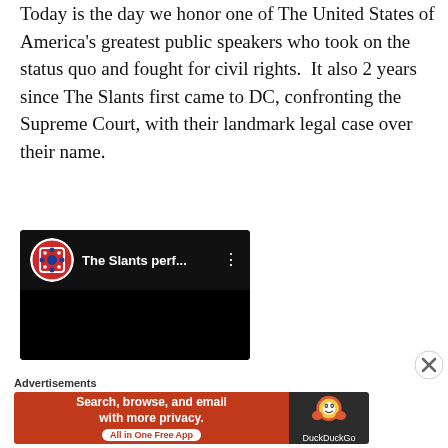Today is the day we honor one of The United States of America's greatest public speakers who took on the status quo and fought for civil rights.  It also 2 years since The Slants first came to DC, confronting the Supreme Court, with their landmark legal case over their name.
[Figure (screenshot): YouTube video embed showing 'The Slants perf...' with a circular red and blue logo on a black background with a three-dot menu icon]
[Figure (other): Close (X) button for dismissing overlay]
Advertisements
[Figure (other): DuckDuckGo advertisement banner: 'Search, browse, and email with more privacy. All in One Free App' with DuckDuckGo logo on dark background]